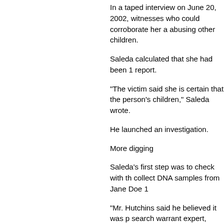In a taped interview on June 20, 2002, witnesses who could corroborate her a abusing other children.
Saleda calculated that she had been 1 report.
“The victim said she is certain that the person’s children,” Saleda wrote.
He launched an investigation.
More digging
Saleda’s first step was to check with th collect DNA samples from Jane Doe 1
“Mr. Hutchins said he believed it was p search warrant expert, Saleda noted.
Then Saleda checked police files. The a child:
-In 1995, Doe 1’s stepmother had repo abusing one of his sons. The boy was Police closed the case without intervie